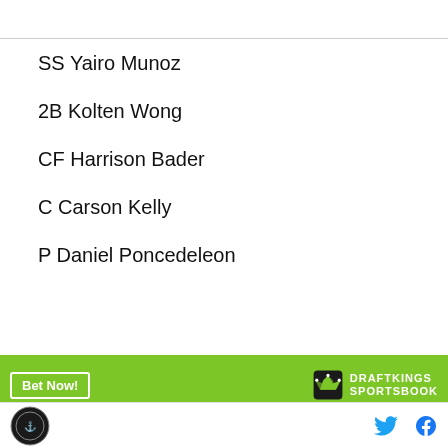SS Yairo Munoz
2B Kolten Wong
CF Harrison Bader
C Carson Kelly
P Daniel Poncedeleon
[Figure (infographic): DraftKings Sportsbook advertisement banner with green background, 'Bet Now!' button, and DraftKings Sportsbook logo]
Bryan Reynolds
Site logo and social media icons (Twitter, Facebook)